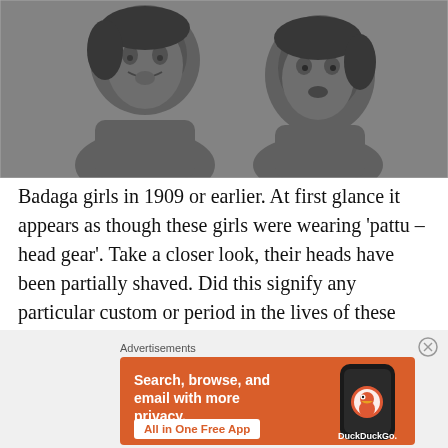[Figure (photo): Black and white photograph of two young Badaga girls from 1909 or earlier, shown from shoulders up against a plain background.]
Badaga girls in 1909 or earlier. At first glance it appears as though these girls were wearing 'pattu – head gear'. Take a closer look, their heads have been partially shaved. Did this signify any particular custom or period in the lives of these very young girls. No info available in Thurston's book.
Advertisements
[Figure (screenshot): DuckDuckGo advertisement banner with orange background showing 'Search, browse, and email with more privacy. All in One Free App' with phone mockup and DuckDuckGo logo.]